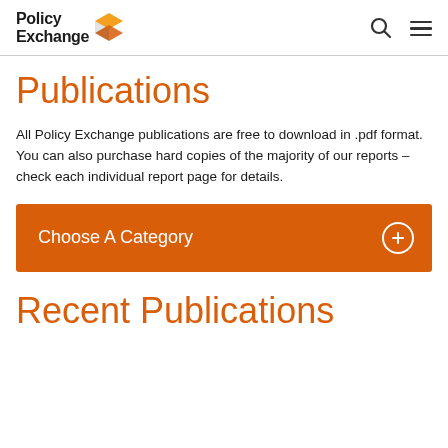Policy Exchange
Publications
All Policy Exchange publications are free to download in .pdf format. You can also purchase hard copies of the majority of our reports – check each individual report page for details.
Choose A Category
Recent Publications